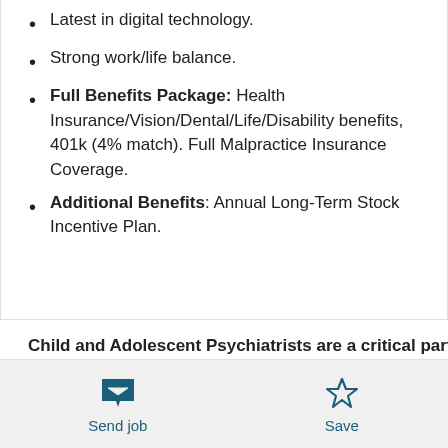Latest in digital technology.
Strong work/life balance.
Full Benefits Package: Health Insurance/Vision/Dental/Life/Disability benefits, 401k (4% match). Full Malpractice Insurance Coverage.
Additional Benefits: Annual Long-Term Stock Incentive Plan.
Child and Adolescent Psychiatrists are a critical part of
Send job   Save